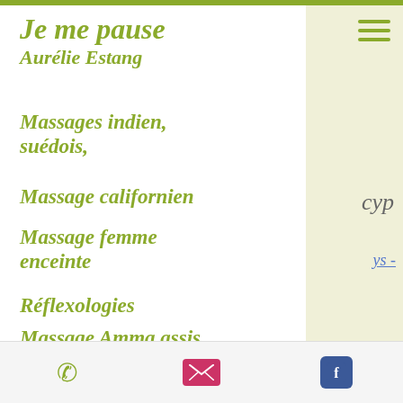Je me pause
Aurélie Estang
Massages indien, suédois,
Massage californien
Massage femme enceinte
Réflexologies
Massage Amma assis
Echillais, Rochefort et alentours
cyp
ys -